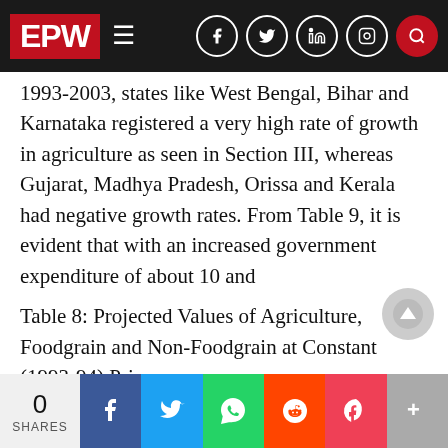EPW
1993-2003, states like West Bengal, Bihar and Karnataka registered a very high rate of growth in agriculture as seen in Section III, whereas Gujarat, Madhya Pradesh, Orissa and Kerala had negative growth rates. From Table 9, it is evident that with an increased government expenditure of about 10 and
Table 8: Projected Values of Agriculture, Foodgrain and Non-Foodgrain at Constant (1993-94) Prices
(Rupees crore)
| Year | Agriculture | Non-foodgrain |
| --- | --- | --- |